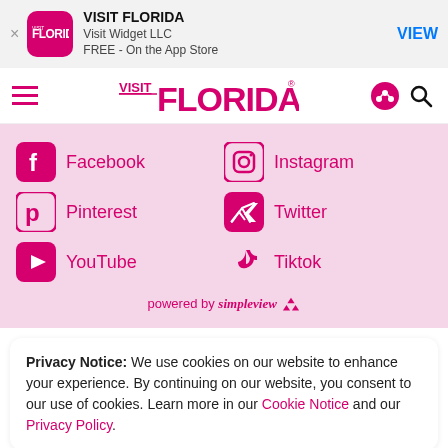[Figure (screenshot): App Store banner showing VISIT FLORIDA app by Visit Widget LLC, FREE on the App Store, with VIEW button]
[Figure (logo): Visit Florida navigation bar with hamburger menu, VISIT FLORIDA logo, share and search icons]
[Figure (infographic): Social media links section on pink background: Facebook, Instagram, Pinterest, Twitter, YouTube, Tiktok, powered by simpleview]
Privacy Notice: We use cookies on our website to enhance your experience. By continuing on our website, you consent to our use of cookies. Learn more in our Cookie Notice and our Privacy Policy.